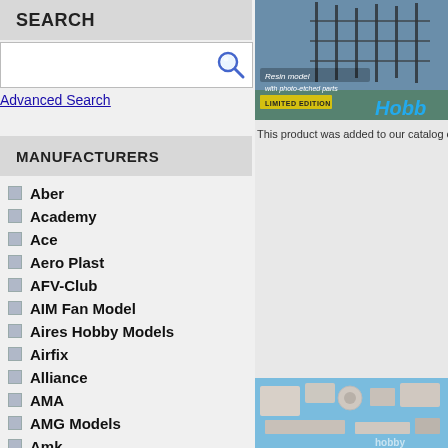SEARCH
Advanced Search
MANUFACTURERS
Aber
Academy
Ace
Aero Plast
AFV-Club
AIM Fan Model
Aires Hobby Models
Airfix
Alliance
AMA
AMG Models
Amk
Amodel
AMR
[Figure (photo): Resin model with photo-etched parts, Limited Edition, Hobby brand logo visible, dark metal structure background]
This product was added to our catalog on 2
[Figure (photo): Model kit parts laid out on blue background, various resin pieces including wheels and flat parts]